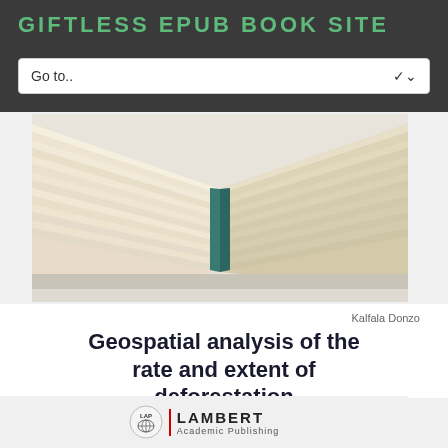GIFTLESS EPUB BOOK SITE
[Figure (screenshot): Navigation dropdown bar showing 'Go to..' with a down arrow chevron on a dark background header]
[Figure (photo): Open book viewed from the spine, pages fanned out showing cream-colored pages against a light background]
Kalfala Donzo
Geospatial analysis of the rate and extent of deforestation
in part of Eastern Nimba Nature Reserve, Liberia
[Figure (logo): LAP Lambert Academic Publishing logo with circular emblem and red-lined publisher name]